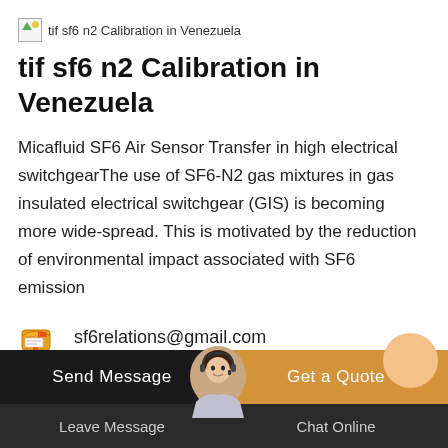[Figure (photo): Broken image placeholder with alt text: tif sf6 n2 Calibration in Venezuela]
tif sf6 n2 Calibration in Venezuela
Micafluid SF6 Air Sensor Transfer in high electrical switchgearThe use of SF6-N2 gas mixtures in gas insulated electrical switchgear (GIS) is becoming more wide-spread. This is motivated by the reduction of environmental impact associated with SF6 emission
sf6relations@gmail.com
[Figure (photo): Customer service representative avatar with headset, circular photo]
Send Message | Get a Quote | Leave Message | Chat Online